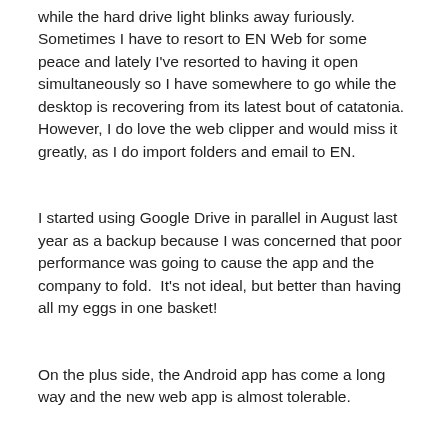while the hard drive light blinks away furiously.  Sometimes I have to resort to EN Web for some peace and lately I've resorted to having it open simultaneously so I have somewhere to go while the desktop is recovering from its latest bout of catatonia.  However, I do love the web clipper and would miss it greatly, as I do import folders and email to EN.
I started using Google Drive in parallel in August last year as a backup because I was concerned that poor performance was going to cause the app and the company to fold.  It's not ideal, but better than having all my eggs in one basket!
On the plus side, the Android app has come a long way and the new web app is almost tolerable.
For now, I cope with the negatives in the hope that a version 6 will appear in the next few months with better back-end database management and solve all of these problems!